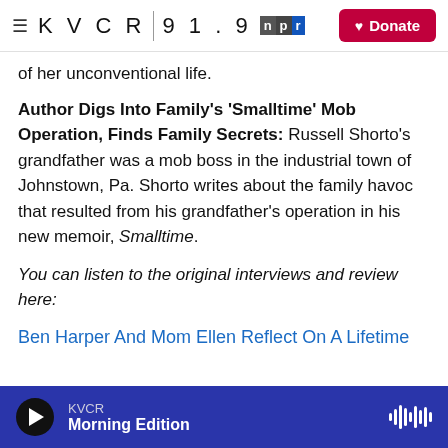KVCR 91.9 NPR | Donate
of her unconventional life.
Author Digs Into Family's 'Smalltime' Mob Operation, Finds Family Secrets: Russell Shorto's grandfather was a mob boss in the industrial town of Johnstown, Pa. Shorto writes about the family havoc that resulted from his grandfather's operation in his new memoir, Smalltime.
You can listen to the original interviews and review here:
Ben Harper And Mom Ellen Reflect On A Lifetime
KVCR Morning Edition